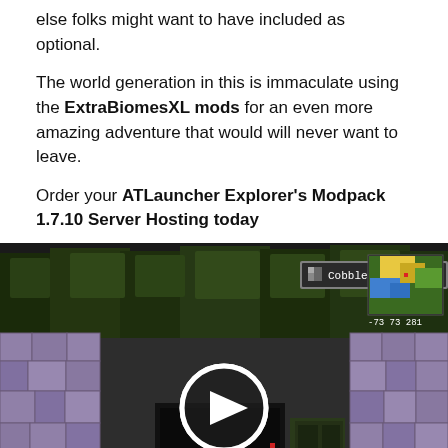else folks might want to have included as optional.
The world generation in this is immaculate using the ExtraBiomesXL mods for an even more amazing adventure that would will never want to leave.
Order your ATLauncher Explorer's Modpack 1.7.10 Server Hosting today
[Figure (screenshot): Minecraft game screenshot showing a stone corridor with grass, a Cobblestone item tooltip at the top, a minimap in the top right corner showing '-73 73 281', player health and hunger bars at the bottom, and a play button overlay in the center indicating a video.]